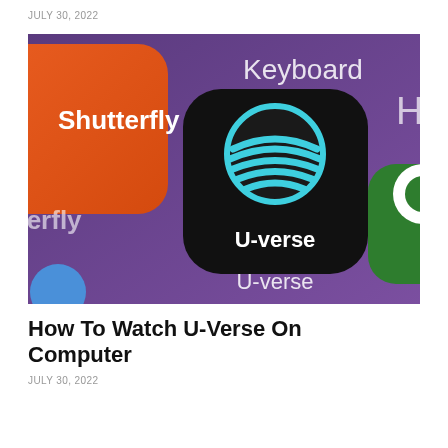JULY 30, 2022
[Figure (photo): Close-up of smartphone app icons including the AT&T U-verse app (black rounded square with blue globe logo and U-verse text), Shutterfly app (orange), a keyboard app (purple), and a green app, all on a purple background.]
How To Watch U-Verse On Computer
JULY 30, 2022